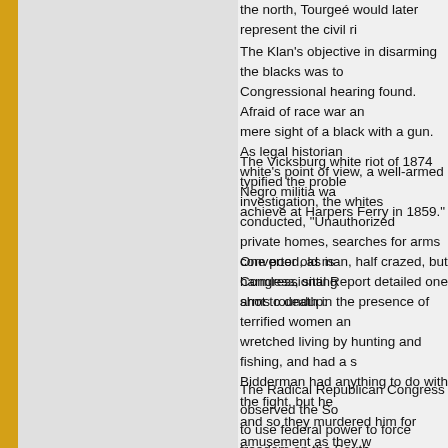the north, Tourgeé would later represent the civil ri
The Klan's objective in disarming the blacks was to Congressional hearing found. Afraid of race war an mere sight of a black with a gun. As legal historian white's point of view, a well-armed Negro militia wa achieve at Harpers Ferry in 1859."
The Vicksburg white riot of 1874 typified the proble investigation, the whites conducted, "Unauthorized private homes, searches for arms converted, as is Congressional Report detailed one arms roundup:
One poor old man, half crazed, but harmless, sitting shot to death in the presence of terrified women an wretched living by hunting and fishing, and had a s Bidderman had anything to do with the fight, but he and so they murdered him for amusement as they w the country.
The Radical Republican Congress observed the So to use federal power to force freedom on the South important tools was the 14th Amendment to the Co basic human rights. While the vague language of th about exactly what is covered, the Congressional b intended, at the least, protecting the core freedoms Announced Representative Clarke of Kansas: "I fin declared 'the right of the people to keep and bear a shall insist that the reconstructed rebels of Mississi laws."